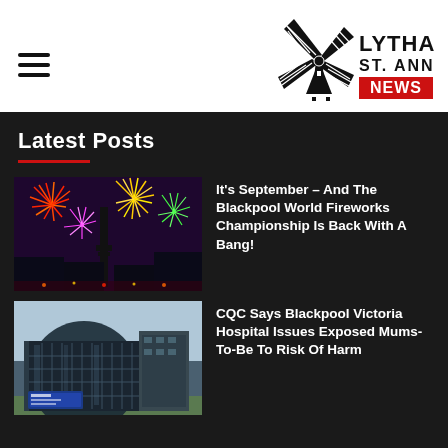[Figure (logo): Lytham St. Annes News logo — windmill graphic with text LYTHAM ST. ANNES and NEWS in red box]
Latest Posts
[Figure (photo): Fireworks display over Blackpool Tower at night with colorful explosions]
It's September – And The Blackpool World Fireworks Championship Is Back With A Bang!
[Figure (photo): Blackpool Victoria Hospital exterior — modern curved glass building with blue signage]
CQC Says Blackpool Victoria Hospital Issues Exposed Mums-To-Be To Risk Of Harm